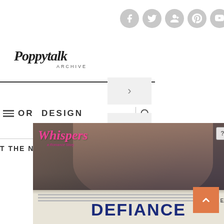[Figure (screenshot): Social media icons row: Facebook, Twitter, Google+, Pinterest, YouTube, Instagram — all gray circular buttons]
[Figure (logo): Poppytalk Archive logo in script/italic font]
[Figure (screenshot): Navigation bar with hamburger menu icon, text 'OR DESIGN', arrow chevron box, search icon]
T THE NEW
[Figure (screenshot): Advertisement overlay showing 'Whispers' romance novel cover with couple embracing, and 'DEFIANCE' text at the bottom on newspaper background. Has close (X) and info (?) buttons. Orange scroll-to-top button in bottom right.]